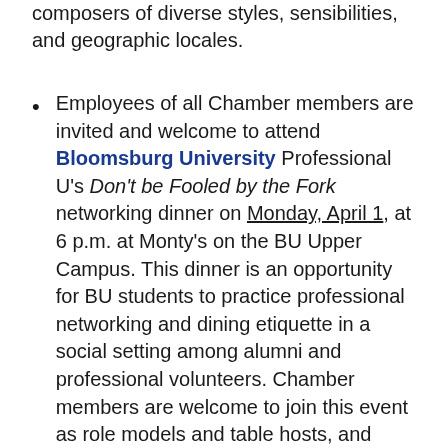composers of diverse styles, sensibilities, and geographic locales.
Employees of all Chamber members are invited and welcome to attend Bloomsburg University Professional U's Don't be Fooled by the Fork networking dinner on Monday, April 1, at 6 p.m. at Monty's on the BU Upper Campus. This dinner is an opportunity for BU students to practice professional networking and dining etiquette in a social setting among alumni and professional volunteers. Chamber members are welcome to join this event as role models and table hosts, and impart your wisdom to current students as they learn how to conduct themselves in a professional dining situation. The...